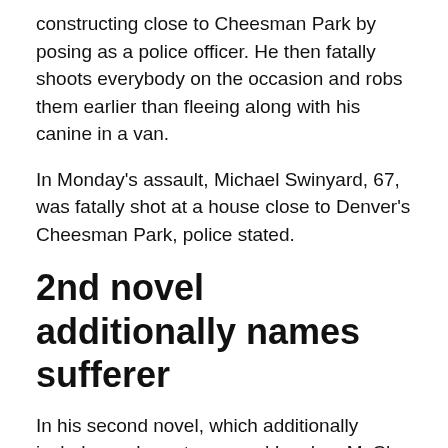constructing close to Cheesman Park by posing as a police officer. He then fatally shoots everybody on the occasion and robs them earlier than fleeing along with his canine in a van.
In Monday's assault, Michael Swinyard, 67, was fatally shot at a house close to Denver's Cheesman Park, police stated.
2nd novel additionally names sufferer
In his second novel, which additionally includes a character named Lyndon, McClay names Alicia Cardenas as a sufferer. The e-book additionally mentions the tattoo store she owned, Sol Tribe.
Alicia Cardenas, a 44-year-old tattoo artist, was amongst